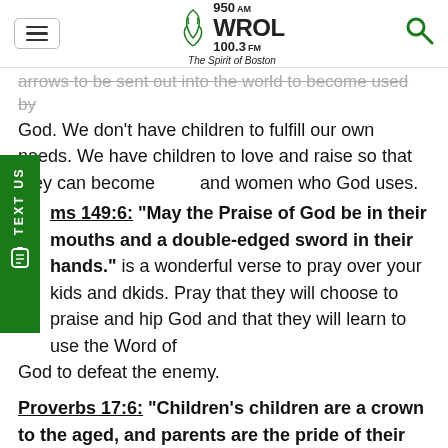950 AM WROL 100.3 FM The Spirit of Boston
arrows to be sent out into the world to become used by God. We don't have children to fulfill our own needs. We have children to love and raise so that they can become men and women who God uses.
Psalms 149:6: “May the Praise of God be in their mouths and a double-edged sword in their hands.” This is a wonderful verse to pray over your kids and grandkids. Pray that they will choose to praise and worship God and that they will learn to use the Word of God to defeat the enemy.
Proverbs 17:6: “Children’s children are a crown to the aged, and parents are the pride of their children.” These verses describe the blessing of grandchildren to the aged. On a personal note, I can affirm. Grandchildren are wonderful. My husband, Steve,